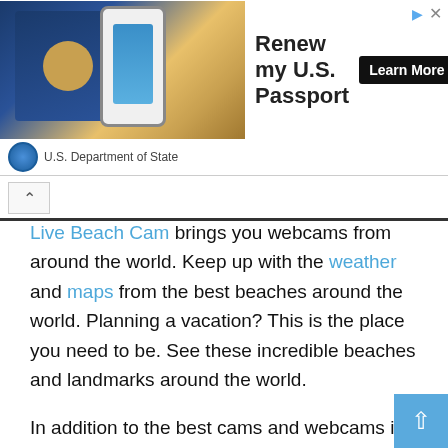[Figure (screenshot): Advertisement banner for U.S. Passport renewal featuring a passport and phone image, headline 'Renew my U.S. Passport', a 'Learn More' button, and U.S. Department of State branding.]
Live Beach Cam brings you webcams from around the world. Keep up with the weather and maps from the best beaches around the world. Planning a vacation? This is the place you need to be. See these incredible beaches and landmarks around the world.
In addition to the best cams and webcams in the United States, Live Beach Cam brings you sites from all around the world. Find out weather conditions, forecast and updates from the top beaches in the world. Check out drone camera video for the top tourist attractions around the world. Look at deck and pier webcams from the top beaches and vacation destinations in the world. Find hotels in the area prior to